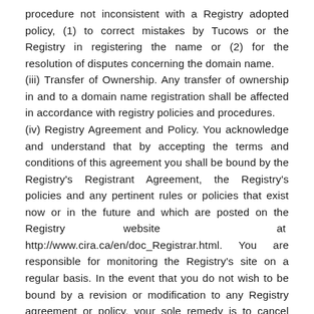procedure not inconsistent with a Registry adopted policy, (1) to correct mistakes by Tucows or the Registry in registering the name or (2) for the resolution of disputes concerning the domain name.
(iii) Transfer of Ownership. Any transfer of ownership in and to a domain name registration shall be affected in accordance with registry policies and procedures.
(iv) Registry Agreement and Policy. You acknowledge and understand that by accepting the terms and conditions of this agreement you shall be bound by the Registry's Registrant Agreement, the Registry's policies and any pertinent rules or policies that exist now or in the future and which are posted on the Registry website at http://www.cira.ca/en/doc_Registrar.html. You are responsible for monitoring the Registry's site on a regular basis. In the event that you do not wish to be bound by a revision or modification to any Registry agreement or policy, your sole remedy is to cancel your domain name registration by following the appropriate